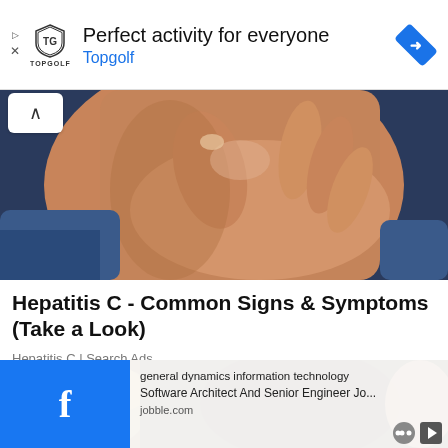[Figure (infographic): Topgolf advertisement banner with logo, shield icon, text 'Perfect activity for everyone' and blue 'Topgolf' link, blue diamond navigation icon on right, with close/report ad controls on left]
[Figure (photo): Close-up photo of a person touching their throat/neck area with their hand, suggesting throat pain or swollen lymph nodes, used to illustrate Hepatitis C symptoms]
Hepatitis C - Common Signs & Symptoms (Take a Look)
Hepatitis C | Search Ads
[Figure (photo): Partial photo of a blonde woman, partially cropped at bottom of page]
general dynamics information technology
Software Architect And Senior Engineer Jo...
jobble.com